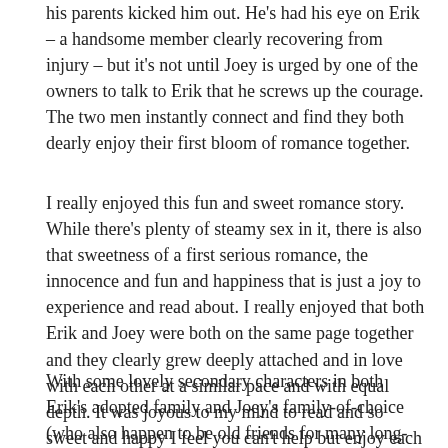his parents kicked him out. He's had his eye on Erik – a handsome member clearly recovering from injury – but it's not until Joey is urged by one of the owners to talk to Erik that he screws up the courage. The two men instantly connect and find they both dearly enjoy their first bloom of romance together.
I really enjoyed this fun and sweet romance story. While there's plenty of steamy sex in it, there is also that sweetness of a first serious romance, the innocence and fun and happiness that is just a joy to experience and read about. I really enjoyed that both Erik and Joey were both on the same page together and they clearly grew deeply attached and in love with each other at a similar pace and with equal depth. It was joyous to my mind to read and so sweet and happy I feel you can't help but enjoy each moment.
With some lovely secondary characters in both Erik's adopted family and Joey's family-of-choice (who also happen to be old friends for many long-term readers) this quick read was a delight and I strongly believe should appeal to a wide range of people